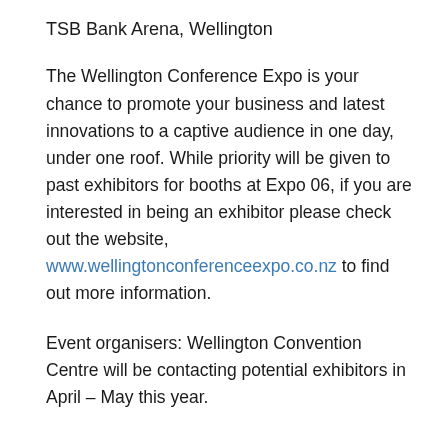TSB Bank Arena, Wellington
The Wellington Conference Expo is your chance to promote your business and latest innovations to a captive audience in one day, under one roof. While priority will be given to past exhibitors for booths at Expo 06, if you are interested in being an exhibitor please check out the website, www.wellingtonconferenceexpo.co.nz to find out more information.
Event organisers: Wellington Convention Centre will be contacting potential exhibitors in April – May this year.